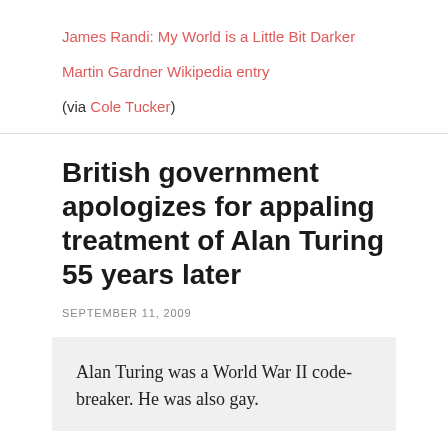James Randi: My World is a Little Bit Darker
Martin Gardner Wikipedia entry
(via Cole Tucker)
British government apologizes for appaling treatment of Alan Turing 55 years later
SEPTEMBER 11, 2009
Alan Turing was a World War II code-breaker. He was also gay.